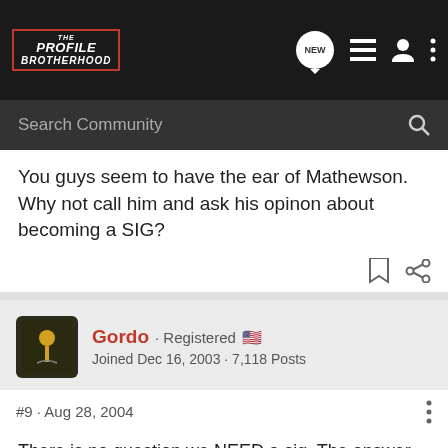The Profile Brotherhood - NEW
Search Community
You guys seem to have the ear of Mathewson. Why not call him and ask his opinon about becoming a SIG?
Gordo · Registered 🇺🇸
Joined Dec 16, 2003 · 7,118 Posts
#9 · Aug 28, 2004
There is no question we NEED a sig. The answer though is NOT making the ProBros a SIG. I've been against that forever